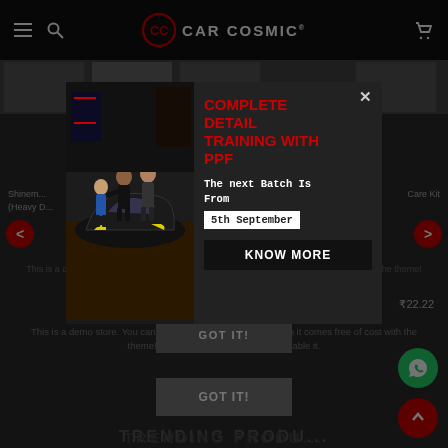[Figure (screenshot): Car Cosmic e-commerce website header with black navigation bar showing hamburger menu, search icon, Car Cosmic logo, and cart icon]
[Figure (photo): Modal popup showing a training event at Car Cosmic. Left side: photo of people working on a car in a showroom. Right side: text about Complete Detail Training with PPF, next batch from 5th September, with KNOW MORE button.]
COMPLETE DETAIL TRAINING WITH PPF
The next Batch Is From
5th September
KNOW MORE
Shinema... (Heavy D... Care Kit
This is a demo store. You can purchase it from a Shopify when it comes free of cost with the theme! You can use it if you want or disable it.
GOT IT!
TRENDING PRODU...